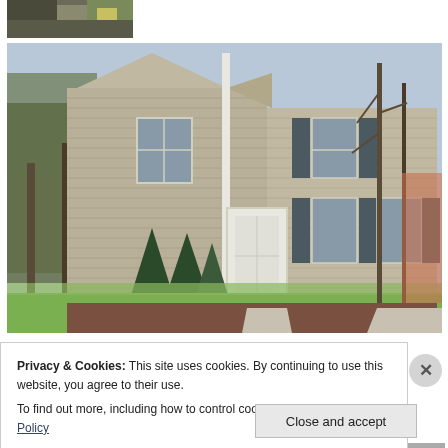[Figure (photo): Small thumbnail photo at top left, appears to show ground/dirt with some yellow object, partially visible]
[Figure (photo): Exterior photo of a two-story colonial-style house with beige/tan horizontal siding, dark shutters on upper windows, white front door with brick steps, evergreen shrubs, large trees without full leaves, green lawn, concrete driveway]
Privacy & Cookies: This site uses cookies. By continuing to use this website, you agree to their use.
To find out more, including how to control cookies, see here: Cookie Policy
Close and accept